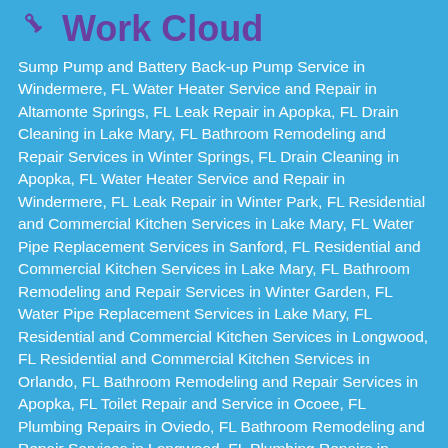Work Cloud
Sump Pump and Battery Back-up Pump Service in Windermere, FL Water Heater Service and Repair in Altamonte Springs, FL Leak Repair in Apopka, FL Drain Cleaning in Lake Mary, FL Bathroom Remodeling and Repair Services in Winter Springs, FL Drain Cleaning in Apopka, FL Water Heater Service and Repair in Windermere, FL Leak Repair in Winter Park, FL Residential and Commercial Kitchen Services in Lake Mary, FL Water Pipe Replacement Services in Sanford, FL Residential and Commercial Kitchen Services in Lake Mary, FL Bathroom Remodeling and Repair Services in Winter Garden, FL Water Pipe Replacement Services in Lake Mary, FL Residential and Commercial Kitchen Services in Longwood, FL Residential and Commercial Kitchen Services in Orlando, FL Bathroom Remodeling and Repair Services in Apopka, FL Toilet Repair and Service in Ocoee, FL Plumbing Repairs in Oviedo, FL Bathroom Remodeling and Repair Services in Longwood, FL Plumbing Repairs in Longwood, FL Bathroom Remodeling and Repair Services in Winter Springs, FL Residential and Commercial Kitchen Services in Orlando, FL Water Heater Service and Repair in Sanford, FL Sewer Line Repair or Replacement in Maitland, FL Water Pipe Replacement Services in Montverde, FL